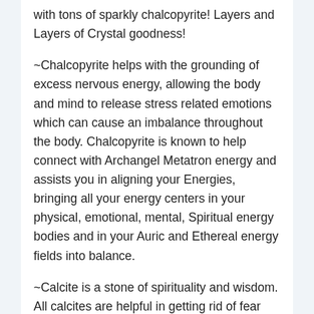with tons of sparkly chalcopyrite! Layers and Layers of Crystal goodness!
~Chalcopyrite helps with the grounding of excess nervous energy, allowing the body and mind to release stress related emotions which can cause an imbalance throughout the body. Chalcopyrite is known to help connect with Archangel Metatron energy and assists you in aligning your Energies, bringing all your energy centers in your physical, emotional, mental, Spiritual energy bodies and in your Auric and Ethereal energy fields into balance.
~Calcite is a stone of spirituality and wisdom. All calcites are helpful in getting rid of fear and reducing stress. Calcite is probably the best cleanser of negative energies in the human system, and works on all levels from the physical to the etheric. This makes it a very purifying